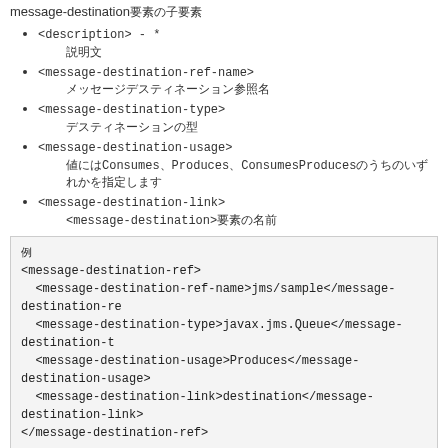message-destination要素の子要素
<description> - *
説明文
<message-destination-ref-name>
メッセージデスティネーション参照名
<message-destination-type>
デスティネーションの型
<message-destination-usage>
値にはConsumes、Produces、ConsumesProducesのうちのいずれかを指定します
<message-destination-link>
<message-destination>要素の名前
例
<message-destination-ref>
  <message-destination-ref-name>jms/sample</message-destination-ref-name>
  <message-destination-type>javax.jms.Queue</message-destination-type>
  <message-destination-usage>Produces</message-destination-usage>
  <message-destination-link>destination</message-destination-link>
</message-destination-ref>
<message-destination> - *